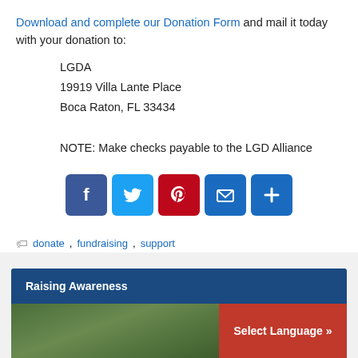Download and complete our Donation Form and mail it today with your donation to:
LGDA
19919 Villa Lante Place
Boca Raton, FL 33434
NOTE: Make checks payable to the LGD Alliance
[Figure (infographic): Social share buttons: Facebook, Twitter, Pinterest, Email, Share (plus)]
donate, fundraising, support
Raising Awareness
[Figure (photo): Partial photo of a dog or animal in a green outdoor setting, with a red 'Select Language »' button overlay]